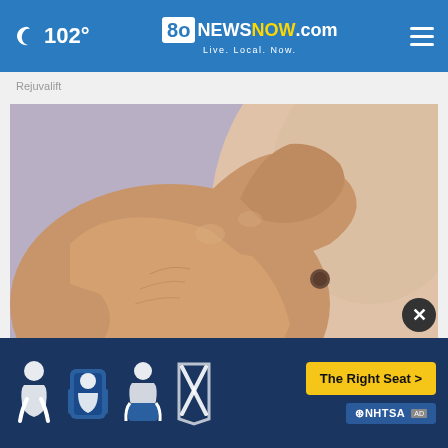102° 8NewsNow.com Live. Local. Now.
Rejuvalift
[Figure (photo): Close-up photo of a hand scratching or touching skin showing a mole/lesion on a person's back or shoulder area.]
Do You Know What Plaque Psoriasis Is? (Take a Loo...
Plaque Psoriasis Treatment |...
[Figure (infographic): Bottom advertisement banner from NHTSA showing car seat safety icons with 'The Right Seat >' button in yellow and NHTSA logo. Blue background with child seat safety icons.]